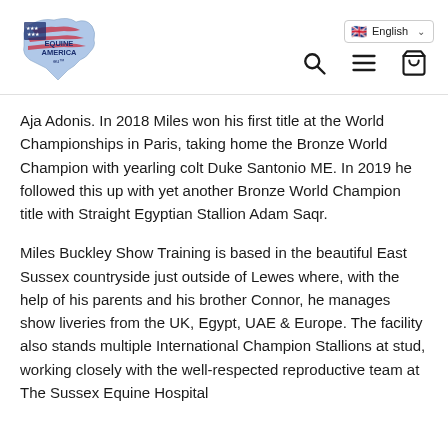Equine America EU logo | English language selector | Search, Menu, Cart icons
Aja Adonis. In 2018 Miles won his first title at the World Championships in Paris, taking home the Bronze World Champion with yearling colt Duke Santonio ME. In 2019 he followed this up with yet another Bronze World Champion title with Straight Egyptian Stallion Adam Saqr.
Miles Buckley Show Training is based in the beautiful East Sussex countryside just outside of Lewes where, with the help of his parents and his brother Connor, he manages show liveries from the UK, Egypt, UAE & Europe. The facility also stands multiple International Champion Stallions at stud, working closely with the well-respected reproductive team at The Sussex Equine Hospital